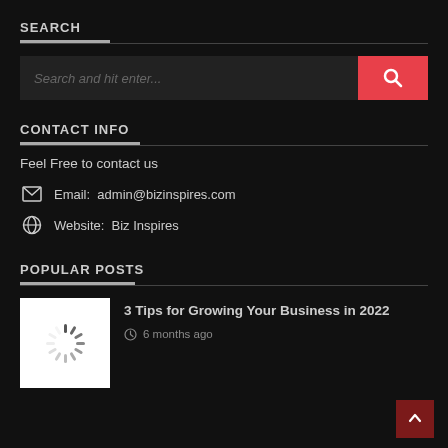SEARCH
[Figure (screenshot): Search bar with placeholder text 'Search and hit enter...' and a red search button with magnifier icon]
CONTACT INFO
Feel Free to contact us
Email: admin@bizinspires.com
Website: Biz Inspires
POPULAR POSTS
[Figure (screenshot): Loading spinner thumbnail image (white background with grey spinner)]
3 Tips for Growing Your Business in 2022
6 months ago